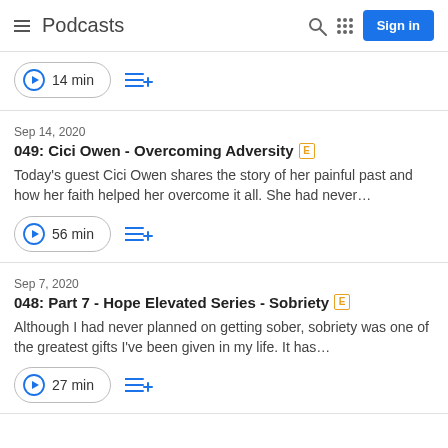Podcasts
14 min
Sep 14, 2020
049: Cici Owen - Overcoming Adversity [E]
Today's guest Cici Owen shares the story of her painful past and how her faith helped her overcome it all. She had never...
56 min
Sep 7, 2020
048: Part 7 - Hope Elevated Series - Sobriety [E]
Although I had never planned on getting sober, sobriety was one of the greatest gifts I've been given in my life. It has...
27 min